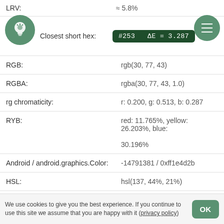LRV: ≈ 5.8%
Closest short hex: #253 ΔE = 3.287
RGB: rgb(30, 77, 43)
RGBA: rgba(30, 77, 43, 1.0)
rg chromaticity: r: 0.200, g: 0.513, b: 0.287
RYB: red: 11.765%, yellow: 26.203%, blue: 30.196%
Android / android.graphics.Color: -14791381 / 0xff1e4d2b
HSL: hsl(137, 44%, 21%)
HSLA: hsla(137, 44%, 21%, 1.0)
HSV / HSB: hue: 137° (136.596), saturation: 61% (0.610), value: 30% (0.302)
We use cookies to give you the best experience. If you continue to use this site we assume that you are happy with it (privacy policy)